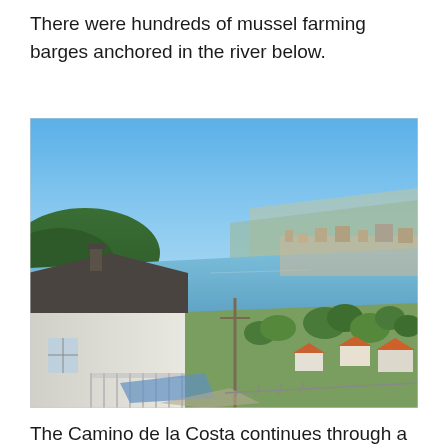There were hundreds of mussel farming barges anchored in the river below.
[Figure (photo): Panoramic view from a hillside showing a Spanish coastal town with a river estuary, distant mountains, orange-roofed buildings, a white house with dark roof in the foreground, green trees, and a clear blue sky.]
The Camino de la Costa continues through a lightly